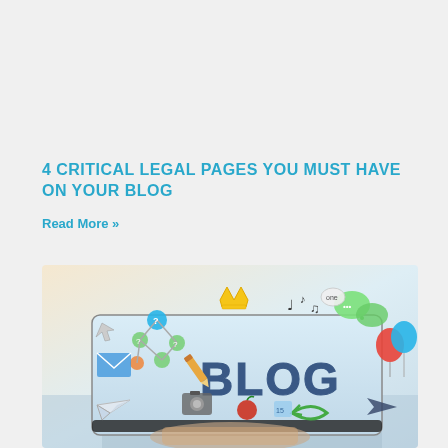4 CRITICAL LEGAL PAGES YOU MUST HAVE ON YOUR BLOG
Read More »
[Figure (photo): A hand holding a tablet displaying icons and the word BLOG in bold blue letters, surrounded by colorful blog-related icons including social media, music notes, crown, chat bubbles, camera, paper airplane, balloons, pencil and other digital media symbols.]